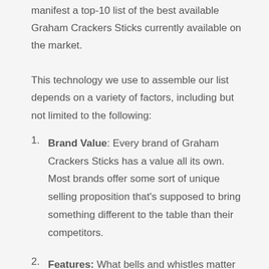manifest a top-10 list of the best available Graham Crackers Sticks currently available on the market.
This technology we use to assemble our list depends on a variety of factors, including but not limited to the following:
Brand Value: Every brand of Graham Crackers Sticks has a value all its own. Most brands offer some sort of unique selling proposition that’s supposed to bring something different to the table than their competitors.
Features: What bells and whistles matter for an Graham Crackers Sticks?
Specifications: How powerful they are can be